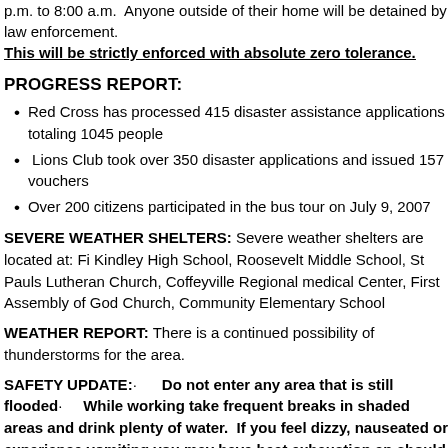p.m. to 8:00 a.m.  Anyone outside of their home will be detained by law enforcement.
This will be strictly enforced with absolute zero tolerance.
PROGRESS REPORT:
Red Cross has processed 415 disaster assistance applications totaling 1045 people
Lions Club took over 350 disaster applications and issued 157 vouchers
Over 200 citizens participated in the bus tour on July 9, 2007
SEVERE WEATHER SHELTERS: Severe weather shelters are located at: Fi Kindley High School, Roosevelt Middle School, St Pauls Lutheran Church, Coffeyville Regional medical Center, First Assembly of God Church, Community Elementary School
WEATHER REPORT: There is a continued possibility of thunderstorms for the area.
SAFETY UPDATE:  Do not enter any area that is still flooded  While working take frequent breaks in shaded areas and drink plenty of water.  If you feel dizzy, nauseated or experience vomiting you may have heat exhaustion an should seek immediate medical attention.  If you smell gas, or hear the sou of escaping gas leave immediately and contact an emergency worker .  We